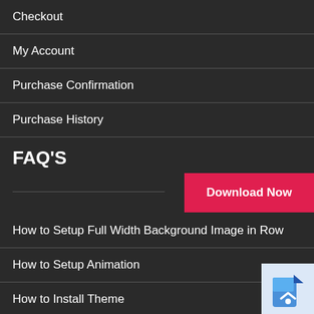Checkout
My Account
Purchase Confirmation
Purchase History
FAQ'S
[Figure (other): Download Now button (red)]
How to Setup Full Width Background Image in Row
How to Setup Animation
How to Install Theme
How to Set Footer Menu